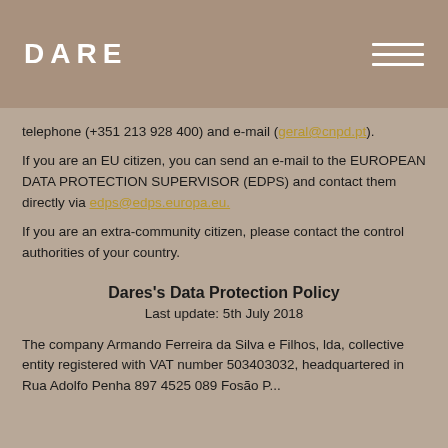DARE
telephone (+351 213 928 400) and e-mail (geral@cnpd.pt).
If you are an EU citizen, you can send an e-mail to the EUROPEAN DATA PROTECTION SUPERVISOR (EDPS) and contact them directly via edps@edps.europa.eu.
If you are an extra-community citizen, please contact the control authorities of your country.
Dares's Data Protection Policy
Last update: 5th July 2018
The company Armando Ferreira da Silva e Filhos, lda, collective entity registered with VAT number 503403032, headquartered in Rua Adolfo Penha 897 4525 089 Fosão P...